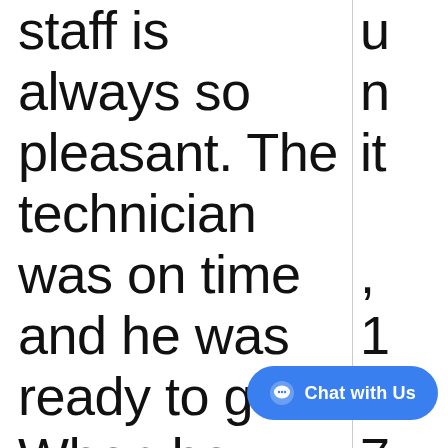staff is always so pleasant. The technician was on time and he was ready to go. When he finished he went over every
unit ,1075Motow
Chat with Us